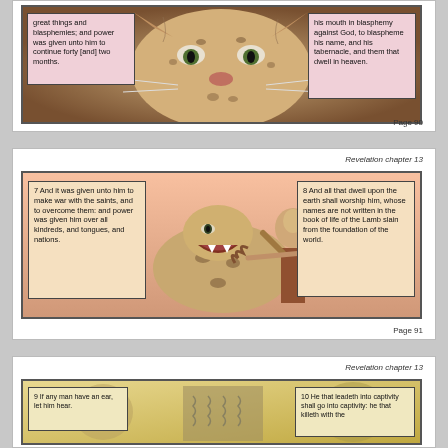[Figure (illustration): Comic book panel showing a leopard face close-up with two speech boxes. Left box: 'great things and blasphemies; and power was given unto him to continue forty [and] two months.' Right box: 'his mouth in blasphemy against God, to blaspheme his name, and his tabernacle, and them that dwell in heaven.' Page 90.]
Page 90
Revelation chapter 13
[Figure (illustration): Comic book panel showing a leopard beast attacking a person in a city setting. Left speech box: '7 And it was given unto him to make war with the saints, and to overcome them: and power was given him over all kindreds, and tongues, and nations.' Right speech box: '8 And all that dwell upon the earth shall worship him, whose names are not written in the book of life of the Lamb slain from the foundation of the world.' Page 91.]
Page 91
Revelation chapter 13
[Figure (illustration): Comic book panel (partially visible) showing a beast scene. Left speech box: '9 If any man have an ear, let him hear.' Right speech box: '10 He that leadeth into captivity shall go into captivity: he that killeth with the']